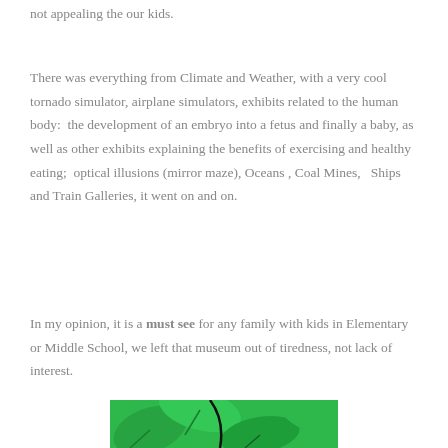not appealing the our kids.
There was everything from Climate and Weather, with a very cool tornado simulator, airplane simulators, exhibits related to the human body:  the development of an embryo into a fetus and finally a baby, as well as other exhibits explaining the benefits of exercising and healthy eating;  optical illusions (mirror maze), Oceans , Coal Mines,   Ships and Train Galleries, it went on and on.
In my opinion, it is a must see for any family with kids in Elementary or Middle School, we left that museum out of tiredness, not lack of interest.
[Figure (photo): Green tropical leaves illustration, partially visible at the bottom of the page]